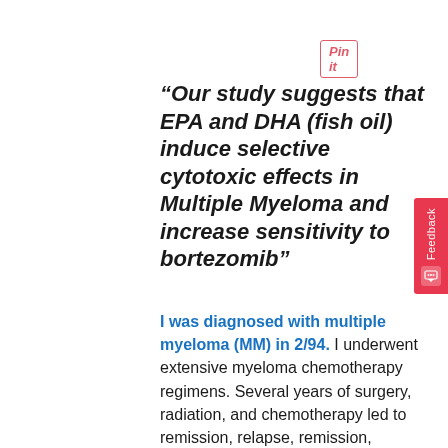[Figure (other): Pin it button with red border and italic text]
“Our study suggests that EPA and DHA (fish oil) induce selective cytotoxic effects in Multiple Myeloma and increase sensitivity to bortezomib”
I was diagnosed with multiple myeloma (MM) in 2/94. I underwent extensive myeloma chemotherapy regimens. Several years of surgery, radiation, and chemotherapy led to remission, relapse, remission, relapse and my oncologist telling me “there is nothing more we can do for